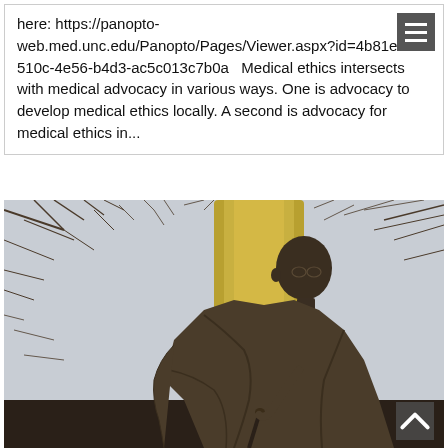here: https://panopto-web.med.unc.edu/Panopto/Pages/Viewer.aspx?id=4b81eef1-510c-4e56-b4d3-ac5c013c7b0a   Medical ethics intersects with medical advocacy in various ways. One is advocacy to develop medical ethics locally. A second is advocacy for medical ethics in...
[Figure (photo): A bronze statue of Mahatma Gandhi in a draped shawl, photographed from below against a background of bare winter tree branches and a yellow-barked tree trunk with an overcast sky.]